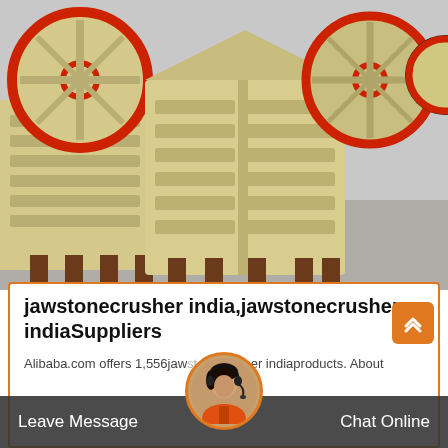[Figure (photo): Industrial jaw crusher machines with large red and black flywheels, cream/beige colored body, stored in a warehouse or factory. Multiple units visible, each sitting on wooden supports.]
jawstonecrusher india,jawstonecrusher indiaSuppliers
Alibaba.com offers 1,556jawstonecrusher indiaproducts. About
Leave Message
Chat Online